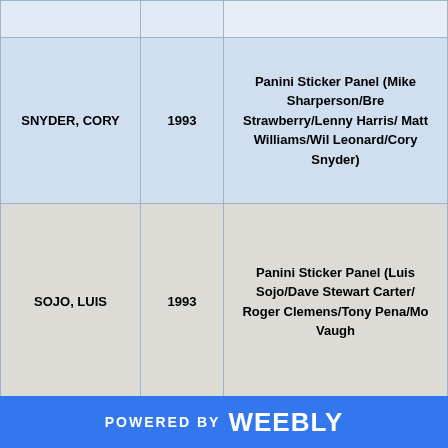| Name | Year | Description |
| --- | --- | --- |
| SNYDER, CORY | 1993 | Panini Sticker Panel (Mike Sharperson/Bre Strawberry/Lenny Harris/ Matt Williams/Wil Leonard/Cory Snyder) |
| SOJO, LUIS | 1993 | Panini Sticker Panel (Luis Sojo/Dave Stewart Carter/ Roger Clemens/Tony Pena/Mo Vaugh |
POWERED BY weebly